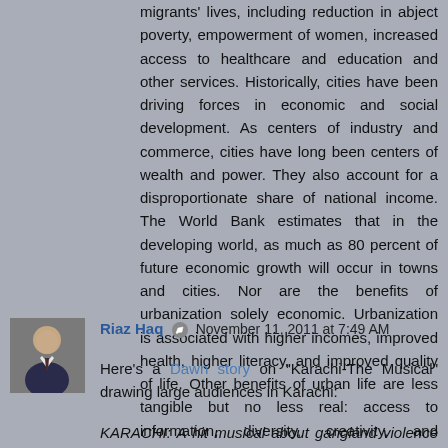migrants lives, including reduction in abject poverty, empowerment of women, increased access to healthcare and education and other services. Historically, cities have been driving forces in economic and social development. As centers of industry and commerce, cities have long been centers of wealth and power. They also account for a disproportionate share of national income. The World Bank estimates that in the developing world, as much as 80 percent of future economic growth will occur in towns and cities. Nor are the benefits of urbanization solely economic. Urbanization is associated with higher incomes, improved health, higher literacy, and improved quality of life. Other benefits of urban life are less tangible but no less real: access to information, diversity, creativity, and innovation.
Reply
Riaz Haq  November 11, 2011 at 7:49 AM
Here's a Dawn story on "Karachi-The Musical" drawing large audiences in Karachi:
KARACHI: A hit musical about gangland violence in